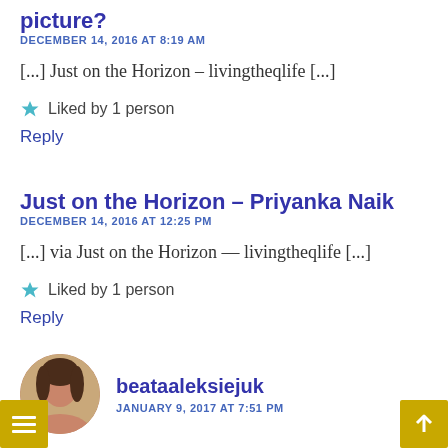picture?
DECEMBER 14, 2016 AT 8:19 AM
[...] Just on the Horizon – livingtheqlife [...]
Liked by 1 person
Reply
Just on the Horizon – Priyanka Naik
DECEMBER 14, 2016 AT 12:25 PM
[...] via Just on the Horizon — livingtheqlife [...]
Liked by 1 person
Reply
beataaleksiejuk
JANUARY 9, 2017 AT 7:51 PM